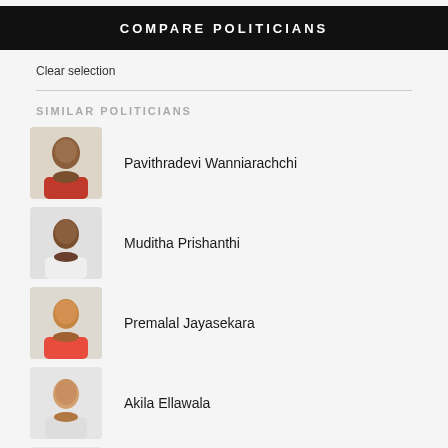COMPARE POLITICIANS
Clear selection
SIMILAR POLITICIANS
Pavithradevi Wanniarachchi
Muditha Prishanthi
Premalal Jayasekara
Akila Ellawala
Waruna Liyanage